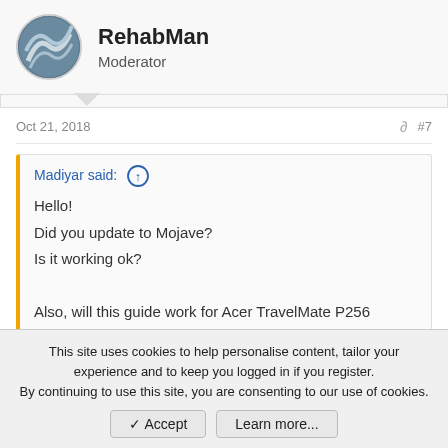RehabMan
Moderator
Oct 21, 2018 #7
Madiyar said: ↑
Hello!
Did you update to Mojave?
Is it working ok?
Also, will this guide work for Acer TravelMate P256 Z5WBH?
Your profile has no hardware details. Please fix as per FAQ:
https://www.tonymacx86.com/threads/faq-read-first-laptop-frequent-questions.164990/
This site uses cookies to help personalise content, tailor your experience and to keep you logged in if you register.
By continuing to use this site, you are consenting to our use of cookies.
✓ Accept   Learn more...